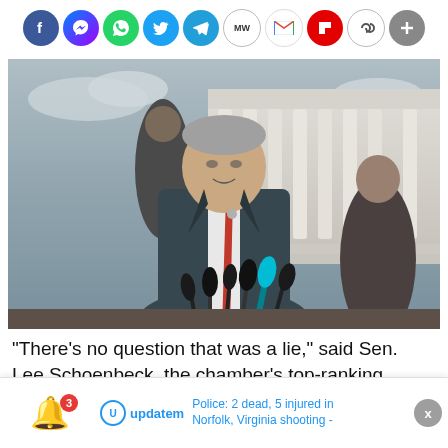[Figure (other): Social media share bar with icons for Facebook, Messenger, WhatsApp, Twitter, Telegram, MeWe, Gmail, Flipboard, Share, and Add]
[Figure (photo): A man in a dark suit with a red tie speaks at a bank of microphones in front of what appears to be the U.S. Supreme Court building. Other people stand behind him.]
“There’s no question that was a lie,” said Sen. Lee Schoenbeck, the chamber’s top-ranking Republican. “This person ran down an innocent South Dakotan.”
Police: 2 dead, 5 injured in Norfolk, Virginia shooting -